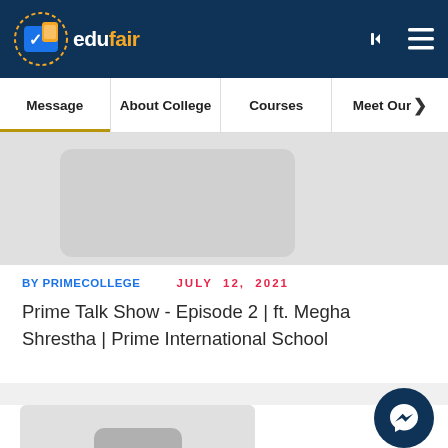edufair
Message | About College | Courses | Meet Our
[Figure (screenshot): Thumbnail placeholder image for Prime Talk Show Episode 2]
BY PRIMECOLLEGE   JULY  12,  2021
Prime Talk Show - Episode 2 | ft. Megha Shrestha | Prime International School
[Figure (screenshot): Thumbnail placeholder image for second card with three dots icon]
[Figure (other): Messenger chat button icon in bottom right corner]